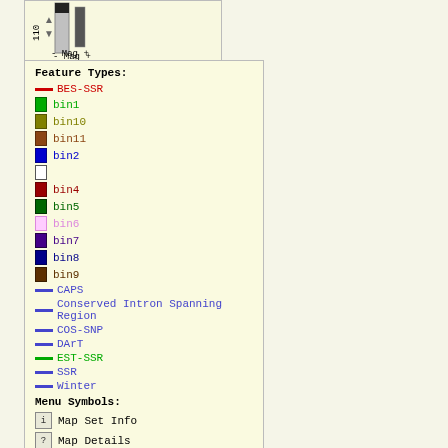[Figure (screenshot): Top panel showing a partial chromosome map with magnification controls, scale 0-110 cM]
Feature Types:
BES-SSR (red line)
bin1 (green box)
bin10 (olive box)
bin11 (brown box)
bin2 (blue box)
bin3 (empty box)
bin4 (dark red box)
bin5 (dark green box)
bin6 (pink box)
bin7 (purple box)
bin8 (dark blue box)
bin9 (dark brown box)
CAPS (blue line)
Conserved Intron Spanning Region (blue line)
COS-SNP (blue line)
DArT (blue line)
EST-SSR (green line)
SSR (blue line)
Winter (blue line)
Menu Symbols:
i - Map Set Info
? - Map Details
M - Matrix View
L - Limit to One Map
X - Delete Map Set
x - Delete Map
F - Flip Map